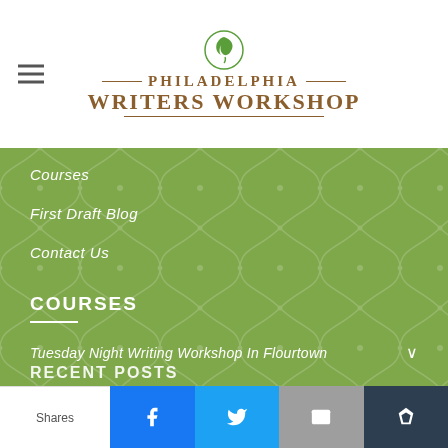[Figure (logo): Philadelphia Writers Workshop logo with stylized feather/quill icon above text]
Courses
First Draft Blog
Contact Us
COURSES
Tuesday Night Writing Workshop In Flourtown
The Manuscript Workshop
The All Writing Workshop
RECENT POSTS
Shares | Facebook | Twitter | Email | Buffer